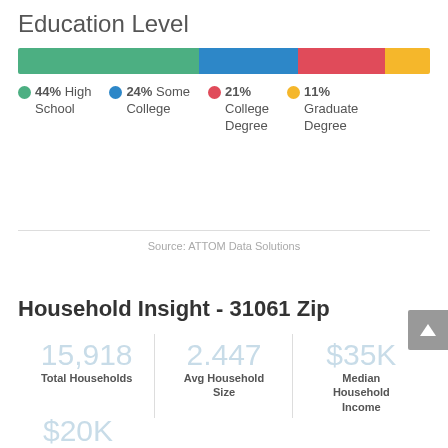Education Level
[Figure (stacked-bar-chart): Education Level]
44% High School  24% Some College  21% College Degree  11% Graduate Degree
Source: ATTOM Data Solutions
Household Insight - 31061 Zip
| Total Households | Avg Household Size | Median Household Income |
| --- | --- | --- |
| 15,918 | 2.447 | $35K |
$20K